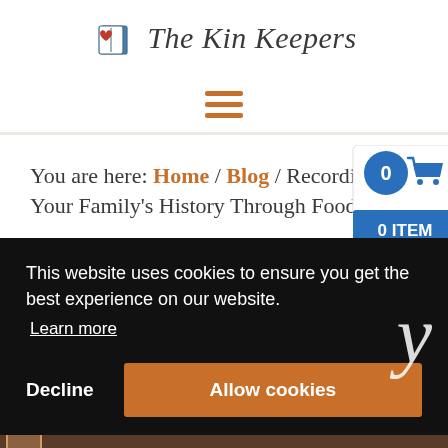[Figure (logo): The Kin Keepers logo with a heart-book icon and italic script text]
[Figure (infographic): Hamburger menu icon with three horizontal orange lines]
You are here: Home / Blog / Recording Your Family's History Through Food
[Figure (infographic): Blue shopping cart badge with '0' and '0 ITEM' label]
This website uses cookies to ensure you get the best experience on our website.
Learn more
Decline
Allow cookies
[Figure (photo): Partial view of a photo at the bottom of the page]